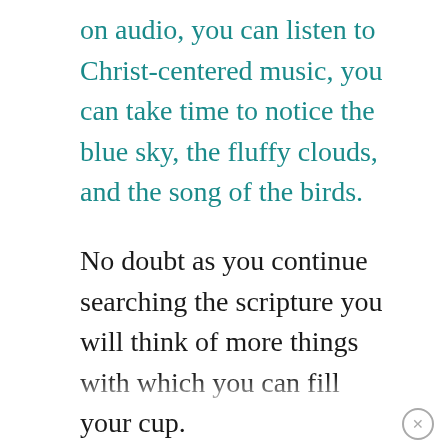on audio, you can listen to Christ-centered music, you can take time to notice the blue sky, the fluffy clouds, and the song of the birds.
No doubt as you continue searching the scripture you will think of more things with which you can fill your cup.